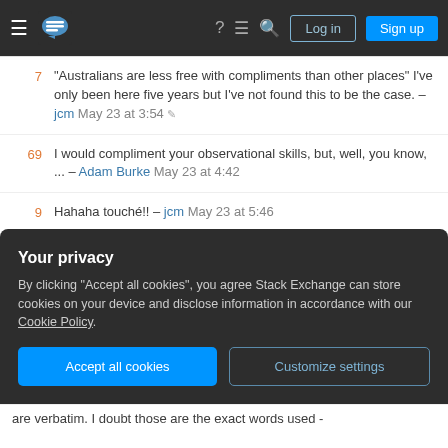Stack Exchange navigation bar with Log in and Sign up buttons
7 – "Australians are less free with compliments than other places" I've only been here five years but I've not found this to be the case. – jcm May 23 at 3:54
69 – I would compliment your observational skills, but, well, you know, ... – Adam Burke May 23 at 4:42
9 – Hahaha touché!! – jcm May 23 at 5:46
5 – This is not a great answer, because it attempts to validate the terrible response of "I feel jealous that you have that satisfaction." That response from the boss is a terribly distorted view of everything & it is not a
Your privacy – By clicking "Accept all cookies", you agree Stack Exchange can store cookies on your device and disclose information in accordance with our Cookie Policy.
are verbatim. I doubt those are the exact words used -